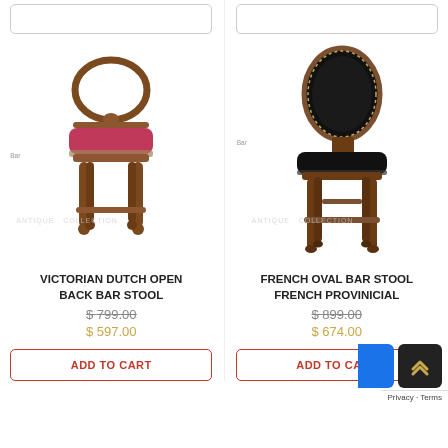[Figure (photo): Victorian Dutch Open Back Bar Stool with carved wood back and red upholstered seat, shown on white background with ANTIQUE COLLECTION watermark]
VICTORIAN DUTCH OPEN BACK BAR STOOL
$ 799.00
$ 597.00
ADD TO CART
[Figure (photo): French Oval Bar Stool French Provincial with black leather oval back and seat, dark wood frame, shown on white background with ANTIQUE COLLECTION watermark]
FRENCH OVAL BAR STOOL FRENCH PROVINICIAL
$ 899.00
$ 674.00
ADD TO CART